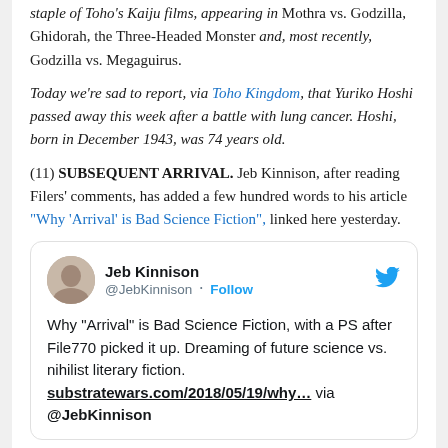staple of Toho's Kaiju films, appearing in Mothra vs. Godzilla, Ghidorah, the Three-Headed Monster and, most recently, Godzilla vs. Megaguirus.
Today we're sad to report, via Toho Kingdom, that Yuriko Hoshi passed away this week after a battle with lung cancer. Hoshi, born in December 1943, was 74 years old.
(11) SUBSEQUENT ARRIVAL. Jeb Kinnison, after reading Filers' comments, has added a few hundred words to his article "Why 'Arrival' is Bad Science Fiction", linked here yesterday.
[Figure (screenshot): Embedded tweet from @JebKinnison with avatar, name, follow button, Twitter bird icon, and tweet text about 'Why Arrival is Bad Science Fiction' with link to substratewars.com/2018/05/19/why...]